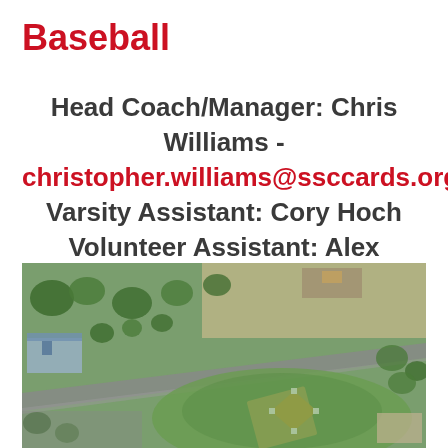Baseball
Head Coach/Manager: Chris Williams - christopher.williams@ssccards.org Varsity Assistant: Cory Hoch Volunteer Assistant: Alex Mogensen
[Figure (photo): Aerial photograph of a baseball field and surrounding sports complex with parking lots, access roads, and green fields visible from above.]